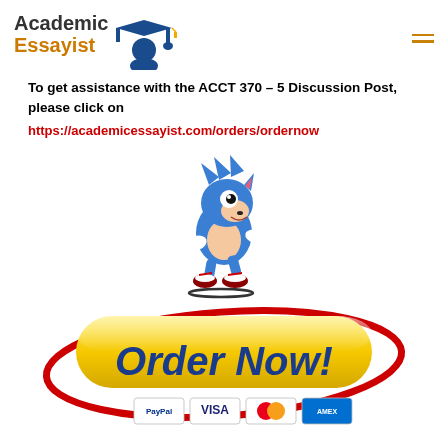Academic Essayist
To get assistance with the ACCT 370 – 5 Discussion Post, please click on https://academicessayist.com/orders/ordernow
[Figure (illustration): Sonic the Hedgehog cartoon character running, with a shadow line beneath]
[Figure (illustration): Order Now! yellow rounded button with red oval swoosh around it, and PayPal, VISA, Mastercard, Amex payment icons below]